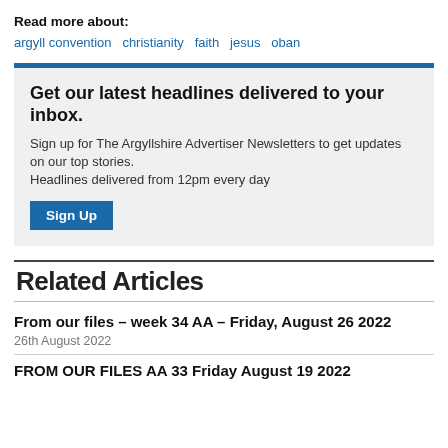Read more about:
argyll convention  christianity  faith  jesus  oban
Get our latest headlines delivered to your inbox. Sign up for The Argyllshire Advertiser Newsletters to get updates on our top stories. Headlines delivered from 12pm every day
Related Articles
From our files – week 34 AA – Friday, August 26 2022
26th August 2022
FROM OUR FILES AA 33 Friday August 19 2022